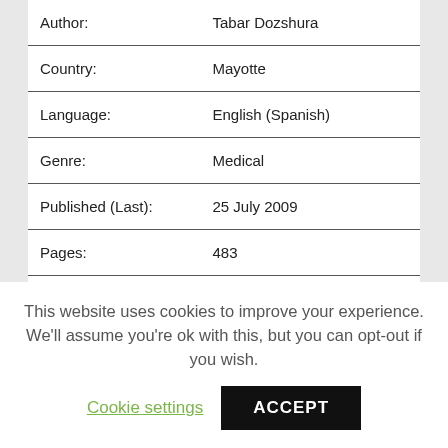| Field | Value |
| --- | --- |
| Author: | Tabar Dozshura |
| Country: | Mayotte |
| Language: | English (Spanish) |
| Genre: | Medical |
| Published (Last): | 25 July 2009 |
| Pages: | 483 |
| PDF File Size: | 9.89 Mb |
| ePub File Size: | 2.99 Mb |
This website uses cookies to improve your experience. We'll assume you're ok with this, but you can opt-out if you wish.
Cookie settings   ACCEPT